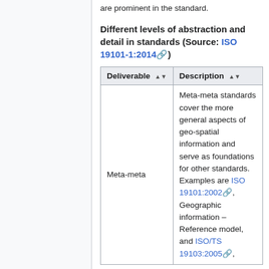are prominent in the standard.
Different levels of abstraction and detail in standards (Source: ISO 19101-1:2014)
| Deliverable | Description |
| --- | --- |
| Meta-meta | Meta-meta standards cover the more general aspects of geo-spatial information and serve as foundations for other standards. Examples are ISO 19101:2002, Geographic information – Reference model, and ISO/TS 19103:2005, |